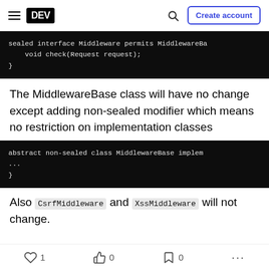DEV | Create account
[Figure (screenshot): Code block showing: sealed interface Middleware permits MiddlewareBa...
    void check(Request request);
}]
The MiddlewareBase class will have no change except adding non-sealed modifier which means no restriction on implementation classes
[Figure (screenshot): Code block showing: abstract non-sealed class MiddlewareBase implem...
...
}]
Also CsrfMiddleware and XssMiddleware will not change.
1  0  0  ...